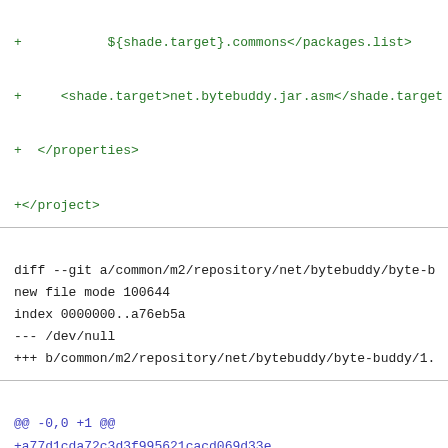+           ${shade.target}.commons</packages.list>
+     <shade.target>net.bytebuddy.jar.asm</shade.target
+  </properties>
+</project>
diff --git a/common/m2/repository/net/bytebuddy/byte-b
new file mode 100644
index 0000000..a76eb5a
--- /dev/null
+++ b/common/m2/repository/net/bytebuddy/byte-buddy/1.
@@ -0,0 +1 @@
+a77d1cda72c3d3f995621cacd069d33e
\ No newline at end of file
diff --git a/common/m2/repository/net/bytebuddy/byte-b
new file mode 100644